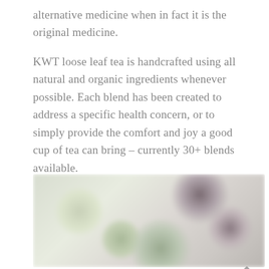alternative medicine when in fact it is the original medicine.
KWT loose leaf tea is handcrafted using all natural and organic ingredients whenever possible. Each blend has been created to address a specific health concern, or to simply provide the comfort and joy a good cup of tea can bring – currently 30+ blends available.
[Figure (photo): Blurred overhead photo of tea ingredients or cups, soft muted greens and purples, with an upward-pointing arrow icon overlaid at the bottom right.]